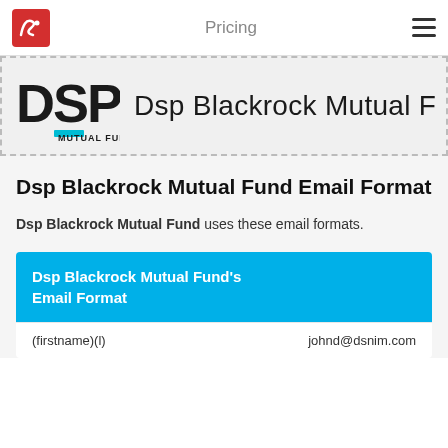Pricing
[Figure (logo): DSP Blackrock Mutual Fund logo with DSP letters and teal accent bar]
Dsp Blackrock Mutual Fund Email Format
Dsp Blackrock Mutual Fund uses these email formats.
| Dsp Blackrock Mutual Fund's Email Format |  |
| --- | --- |
| (firstname)(l) | johnd@dsnim.com |